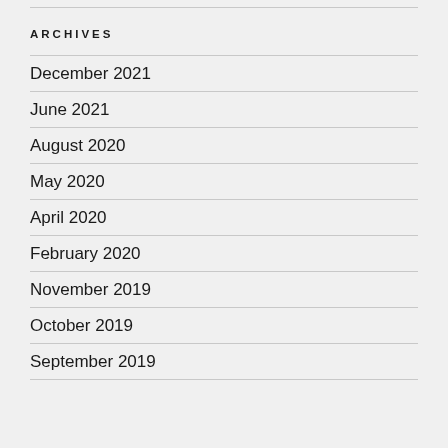ARCHIVES
December 2021
June 2021
August 2020
May 2020
April 2020
February 2020
November 2019
October 2019
September 2019